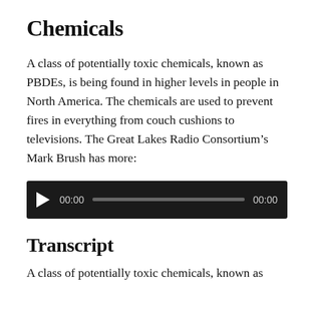Chemicals
A class of potentially toxic chemicals, known as PBDEs, is being found in higher levels in people in North America. The chemicals are used to prevent fires in everything from couch cushions to televisions. The Great Lakes Radio Consortium’s Mark Brush has more:
[Figure (other): Audio player with play button, time display showing 00:00, a progress/scrubber bar, and end time showing 00:00, on a dark background.]
Transcript
A class of potentially toxic chemicals, known as